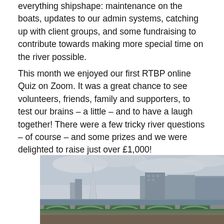everything shipshape: maintenance on the boats, updates to our admin systems, catching up with client groups, and some fundraising to contribute towards making more special time on the river possible.
This month we enjoyed our first RTBP online Quiz on Zoom. It was a great chance to see volunteers, friends, family and supporters, to test our brains – a little – and to have a laugh together! There were a few tricky river questions – of course – and some prizes and we were delighted to raise just over £1,000!
[Figure (photo): A photograph of a river scene featuring a bridge in the foreground with green ironwork, The Shard skyscraper visible in the background left, and buildings along the riverbank. Overcast sky.]